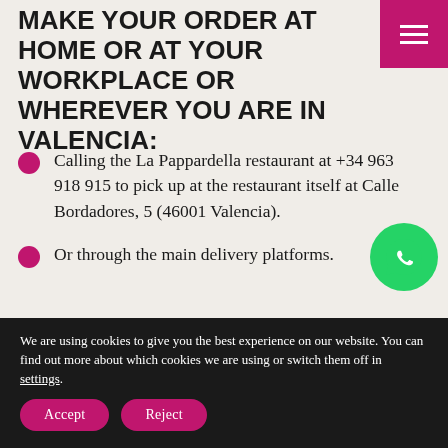MAKE YOUR ORDER AT HOME OR AT YOUR WORKPLACE OR WHEREVER YOU ARE IN VALENCIA:
Calling the La Pappardella restaurant at +34 963 918 915 to pick up at the restaurant itself at Calle Bordadores, 5 (46001 Valencia).
Or through the main delivery platforms.
[Figure (logo): WhatsApp green circle icon with phone handset symbol]
We are using cookies to give you the best experience on our website. You can find out more about which cookies we are using or switch them off in settings.
Accept  Reject